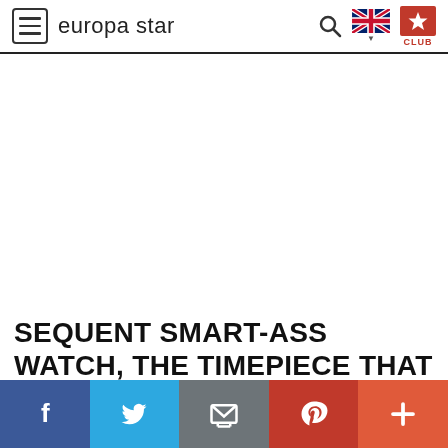europa star
SEQUENT SMART-ASS WATCH, THE TIMEPIECE THAT KEEPS IT REAL
AUGUST 2022